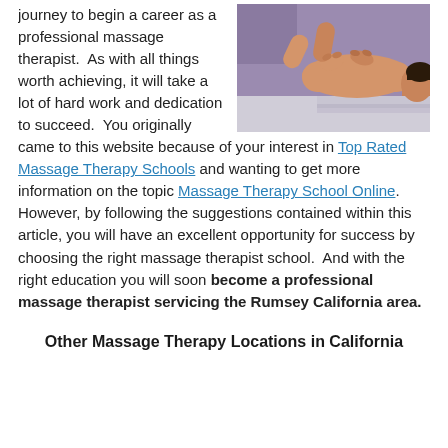journey to begin a career as a professional massage therapist.  As with all things worth achieving, it will take a lot of hard work and dedication to succeed.  You originally came to this website because of your interest in Top Rated Massage Therapy Schools and wanting to get more information on the topic Massage Therapy School Online.  However, by following the suggestions contained within this article, you will have an excellent opportunity for success by choosing the right massage therapist school.  And with the right education you will soon become a professional massage therapist servicing the Rumsey California area.
[Figure (photo): A massage therapist performing a back massage on a person lying face down on a massage table.]
Other Massage Therapy Locations in California